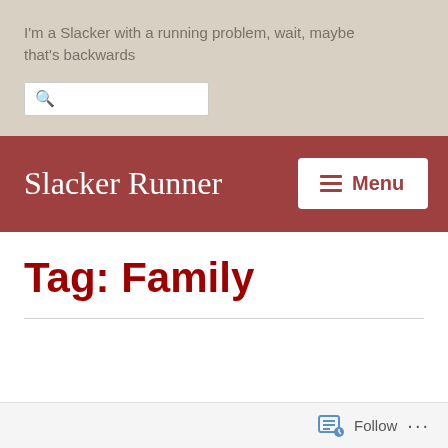I'm a Slacker with a running problem, wait, maybe that's backwards
Slacker Runner
Tag: Family
Follow ...